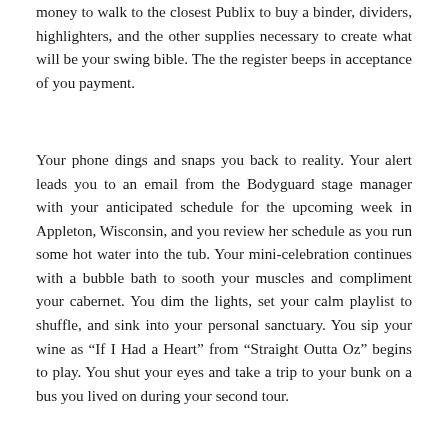money to walk to the closest Publix to buy a binder, dividers, highlighters, and the other supplies necessary to create what will be your swing bible. The the register beeps in acceptance of you payment.
Your phone dings and snaps you back to reality. Your alert leads you to an email from the Bodyguard stage manager with your anticipated schedule for the upcoming week in Appleton, Wisconsin, and you review her schedule as you run some hot water into the tub. Your mini-celebration continues with a bubble bath to sooth your muscles and compliment your cabernet. You dim the lights, set your calm playlist to shuffle, and sink into your personal sanctuary. You sip your wine as “If I Had a Heart” from “Straight Outta Oz” begins to play. You shut your eyes and take a trip to your bunk on a bus you lived on during your second tour.